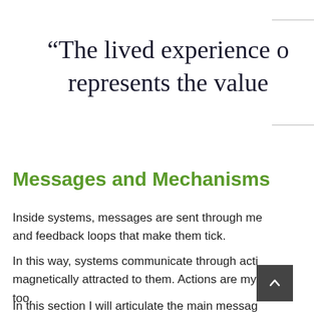“The lived experience o represents the value
Messages and Mechanisms
Inside systems, messages are sent through me and feedback loops that make them tick.
In this way, systems communicate through acti magnetically attracted to them. Actions are my too.
In this section I will articulate the main messag